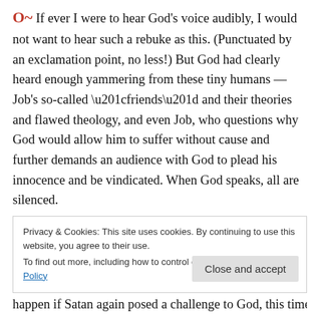O~ If ever I were to hear God's voice audibly, I would not want to hear such a rebuke as this. (Punctuated by an exclamation point, no less!) But God had clearly heard enough yammering from these tiny humans — Job's so-called “friends” and their theories and flawed theology, and even Job, who questions why God would allow him to suffer without cause and further demands an audience with God to plead his innocence and be vindicated. When God speaks, all are silenced.
Privacy & Cookies: This site uses cookies. By continuing to use this website, you agree to their use.
To find out more, including how to control cookies, see here: Cookie Policy
happen if Satan again posed a challenge to God, this time